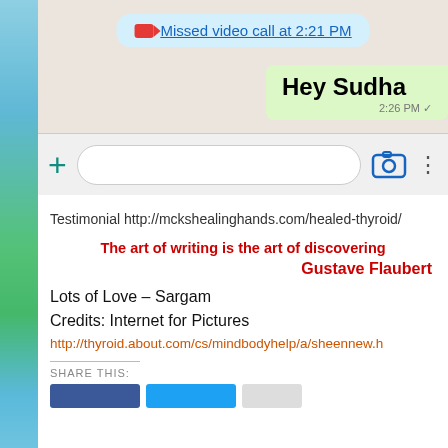[Figure (screenshot): WhatsApp chat screenshot showing a missed video call notification at 2:21 PM, a sent message 'Hey Sudha' at 2:26 PM, and the message input bar with plus, camera, and menu icons]
Testimonial http://mckshealinghands.com/healed-thyroid/
The art of writing is the art of discovering
Gustave Flaubert
Lots of Love – Sargam
Credits: Internet for Pictures
http://thyroid.about.com/cs/mindbodyhelp/a/sheennew.h
Share this: